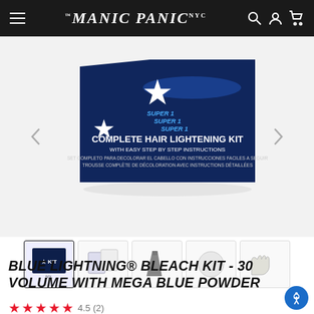Manic Panic NYC - navigation bar with hamburger menu, logo, search, account, and cart icons
[Figure (photo): Manic Panic Blue Lightning Complete Hair Lightening Kit box shown from the front/top angle on a white/light gray background. The box is dark navy blue with a star design and text reading: SUPER [series], COMPLETE HAIR LIGHTENING KIT WITH EASY STEP BY STEP INSTRUCTIONS, SET COMPLETO PARA DECOLORAR EL CABELLO CON INSTRUCCIONES FACILES A SEGUIR, TROUSSE COMPLÈTE DE DÉCOLORATION AVEC INSTRUCTIONS DÉTAILLÉES.]
[Figure (photo): Navigation arrows (left and right) for product image carousel]
[Figure (photo): Thumbnail strip showing 5 product images: 1) product box (active/selected), 2) bleach powder packets, 3) hair applicator brush/comb, 4) mixing bowl/cotton round, 5) latex gloves]
BLUE LIGHTNING® BLEACH KIT - 30 VOLUME WITH MEGA BLUE POWDER
4.5 (2)